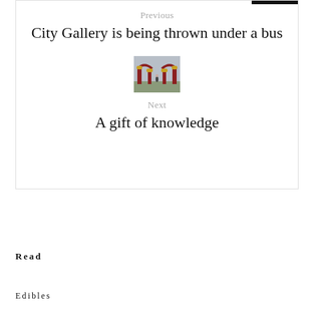[Figure (photo): Small dark thumbnail image at the top of the navigation box]
Previous
City Gallery is being thrown under a bus
[Figure (photo): Small photograph showing an outdoor archway/gateway structure with red arches, flowers, and a person, on a cloudy day]
Next
A gift of knowledge
Read
Edibles